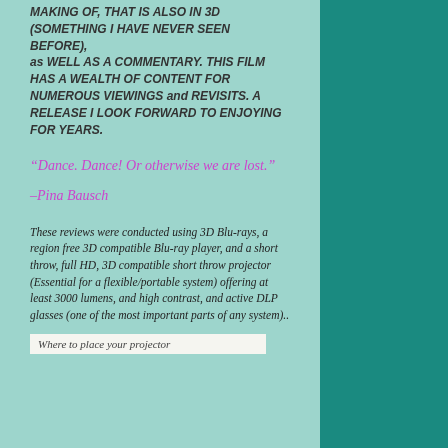MAKING OF, THAT IS ALSO IN 3D (SOMETHING I HAVE NEVER SEEN BEFORE), as WELL AS A COMMENTARY. THIS FILM HAS A WEALTH OF CONTENT FOR NUMEROUS VIEWINGS and REVISITS. A RELEASE I LOOK FORWARD TO ENJOYING FOR YEARS.
“Dance. Dance! Or otherwise we are lost.”
–Pina Bausch
These reviews were conducted using 3D Blu-rays, a region free 3D compatible Blu-ray player, and a short throw, full HD, 3D compatible short throw projector (Essential for a flexible/portable system) offering at least 3000 lumens, and high contrast, and active DLP glasses (one of the most important parts of any system)..
Where to place your projector